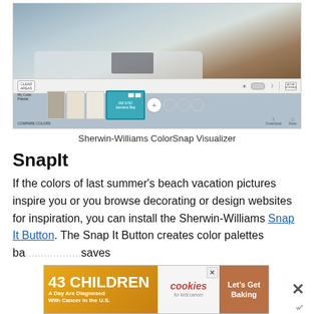[Figure (screenshot): Sherwin-Williams ColorSnap Visualizer interface showing a living room scene with a sofa, color palette swatches at bottom including a selected teal/blue swatch labeled 'SW 6767 Jamaica Bay', with UI controls for Clear Areas, scene modes, download, and save.]
Sherwin-Williams ColorSnap Visualizer
SnapIt
If the colors of last summer's beach vacation pictures inspire you or you browse decorating or design websites for inspiration, you can install the Sherwin-Williams Snap It Button. The Snap It Button creates color palettes ba...saves
[Figure (screenshot): Advertisement banner: '43 CHILDREN A Day Are Diagnosed With Cancer in the U.S.' with cookies for kids' cancer logo and 'Let's Get Baking' text on brown background. Close X button visible.]